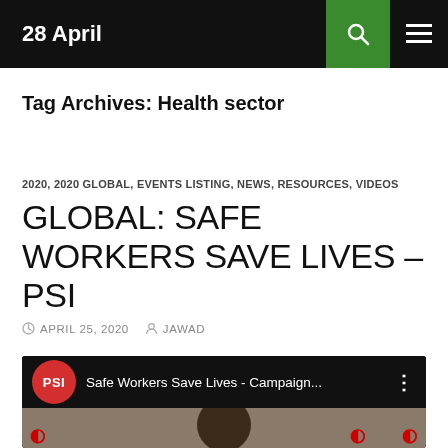28 April
Tag Archives: Health sector
2020, 2020 GLOBAL, EVENTS LISTING, NEWS, RESOURCES, VIDEOS
GLOBAL: SAFE WORKERS SAVE LIVES – PSI
APRIL 25, 2020   JAWAD
[Figure (screenshot): YouTube video thumbnail showing PSI logo and title 'Safe Workers Save Lives - Campaign...' with a person visible below]